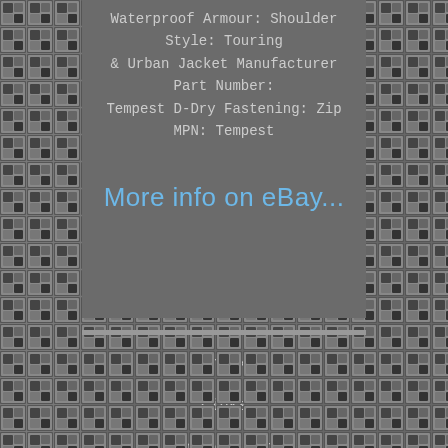Waterproof Armour: Shoulder Style: Touring & Urban Jacket Manufacturer Part Number: Tempest D-Dry Fastening: Zip MPN: Tempest
More info on eBay...
Index
Links
Contact Form
Privacy Policies
Service Agreement